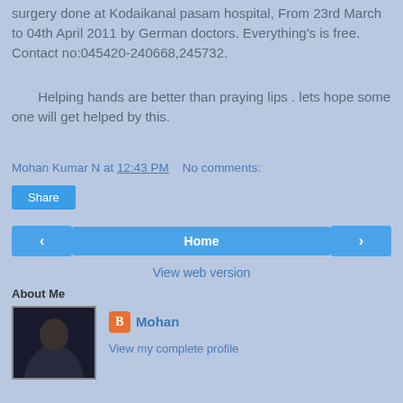surgery done at Kodaikanal pasam hospital, From 23rd March to 04th April 2011 by German doctors. Everything's is free. Contact no:045420-240668,245732.
Helping hands are better than praying lips . lets hope some one will get helped by this.
Mohan Kumar N at 12:43 PM   No comments:
Share
‹
Home
›
View web version
About Me
Mohan
View my complete profile